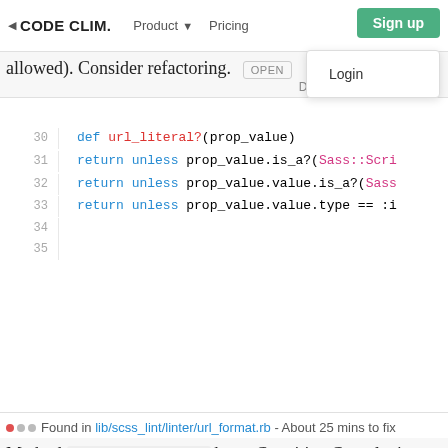CODE CLIM. | Product | Pricing | Sign up | Login
allowed). Consider refactoring. [OPEN]
Developers
[Figure (screenshot): Code snippet lines 30-35 showing Ruby method url_literal? with return unless statements]
Found in lib/scss_lint/linter/url_format.rb - About 25 mins to fix
Method visit_sequence has a Cognitive Complexity (allowed). Consider refactoring. [OPEN]
[Figure (screenshot): Code snippet lines 6-8 showing Ruby method visit_sequence with line_offset and sequence.members.each]